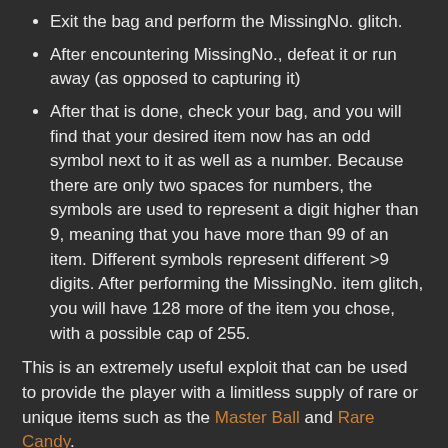Exit the bag and perform the MissingNo. glitch.
After encountering MissingNo., defeat it or run away (as opposed to capturing it)
After that is done, check your bag, and you will find that your desired item now has an odd symbol next to it as well as a number. Because there are only two spaces for numbers, the symbols are used to represent a digit higher than 9, meaning that you have more than 99 of an item. Different symbols represent different >9 digits. After performing the MissingNo. item glitch, you will have 128 more of the item you chose, with a possible cap of 255.
This is an extremely useful exploit that can be used to provide the player with a limitless supply of rare or unique items such as the Master Ball and Rare Candy.
Why The MissingNo. Glitch Occurs